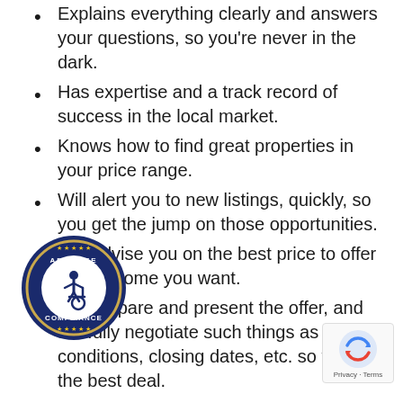Explains everything clearly and answers your questions, so you're never in the dark.
Has expertise and a track record of success in the local market.
Knows how to find great properties in your price range.
Will alert you to new listings, quickly, so you get the jump on those opportunities.
Will advise you on the best price to offer for the home you want.
Will prepare and present the offer, and skillfully negotiate such things as price, conditions, closing dates, etc. so you get the best deal.
...ave you potentially thousands of dollars by ...ng you don't overpay for the property yo...
Will recommend reputable home inspectors, movers
[Figure (logo): ADA Site Compliance badge - circular dark blue badge with accessibility wheelchair icon and stars, text reading ADA SITE COMPLIANCE]
[Figure (logo): reCAPTCHA widget with spinning arrows icon and Privacy - Terms text]